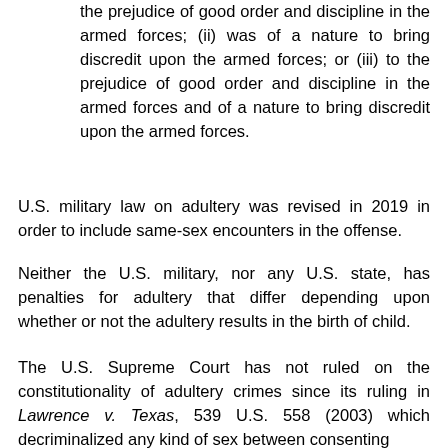the prejudice of good order and discipline in the armed forces; (ii) was of a nature to bring discredit upon the armed forces; or (iii) to the prejudice of good order and discipline in the armed forces and of a nature to bring discredit upon the armed forces.
U.S. military law on adultery was revised in 2019 in order to include same-sex encounters in the offense.
Neither the U.S. military, nor any U.S. state, has penalties for adultery that differ depending upon whether or not the adultery results in the birth of child.
The U.S. Supreme Court has not ruled on the constitutionality of adultery crimes since its ruling in Lawrence v. Texas, 539 U.S. 558 (2003) which decriminalized any kind of sex between consenting